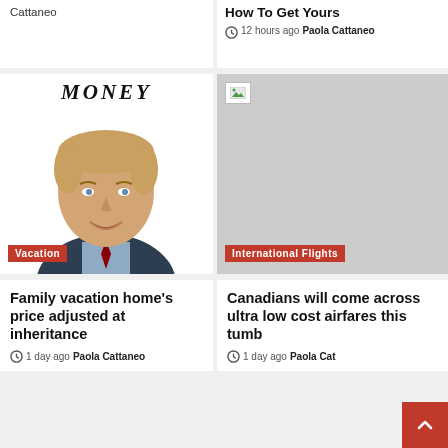Cattaneo
How To Get Yours
12 hours ago  Paola Cattaneo
[Figure (photo): MONEY magazine logo above a headshot of a middle-aged man in a dark suit, smiling, with a Vacation category badge]
[Figure (photo): Broken/missing image placeholder with International Flights category badge]
Family vacation home's price adjusted at inheritance
1 day ago  Paola Cattaneo
Canadians will come across ultra low cost airfares this tumb
1 day ago  Paola Cat